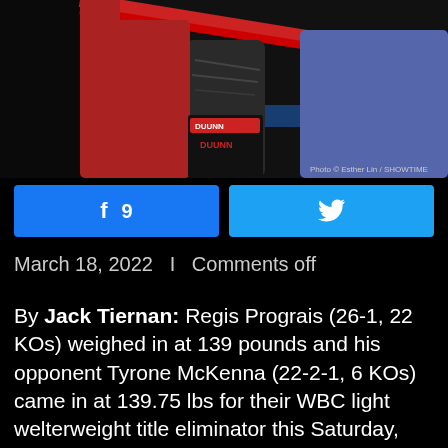[Figure (photo): Boxing scene showing fighters and referee in the ring with red ropes. Photo credit: Esther Lin / SHOWTIME]
[Figure (infographic): Facebook share button with count of 9 and Twitter share button]
March 18, 2022   I   Comments off
By Jack Tiernan: Regis Prograis (26-1, 22 KOs) weighed in at 139 pounds and his opponent Tyrone McKenna (22-2-1, 6 KOs) came in at 139.75 lbs for their WBC light welterweight title eliminator this Saturday, March 19th at the Duty Free Tennis Stadium,